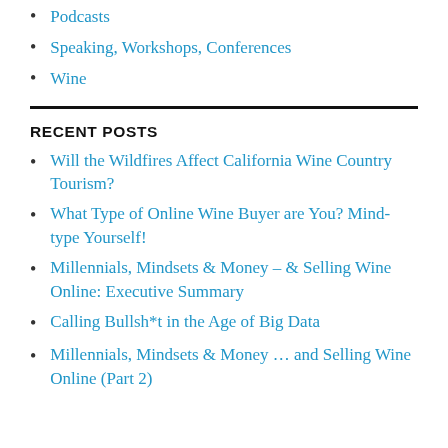Podcasts
Speaking, Workshops, Conferences
Wine
RECENT POSTS
Will the Wildfires Affect California Wine Country Tourism?
What Type of Online Wine Buyer are You? Mind-type Yourself!
Millennials, Mindsets & Money – & Selling Wine Online: Executive Summary
Calling Bullsh*t in the Age of Big Data
Millennials, Mindsets & Money … and Selling Wine Online (Part 2)